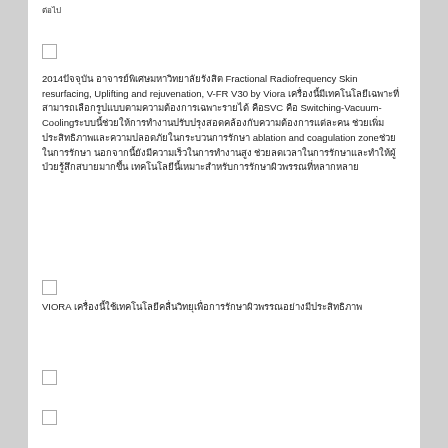ต่อไป
☐
2014ปัจจุบัน อาจารย์พิเศษมหาวิทยาลัยรังสิต Fractional Radiofrequency Skin resurfacing, Uplifting and rejuvenation, V-FR V30 by Viora เครื่องนี้มีเทคโนโลยีเฉพาะที่สามารถเลือกรูปแบบตามความต้องการเฉพาะรายได้ คือSVC คือ Switching-Vacuum-Coolingระบบนี้ช่วยให้การทำงานปรับปรุงสอดคล้องกับความต้องการแต่ละคน ช่วยเพิ่มประสิทธิภาพและความปลอดภัยในกระบวนการรักษา ablation and coagulation zoneช่วยในการรักษา นอกจากนี้ยังมีความเร็วในการทำงานสูง ช่วยลดเวลาในการรักษาและทำให้ผู้ป่วยรู้สึกสบายมากขึ้น เทคโนโลยีนี้เหมาะสำหรับการรักษาผิวพรรณที่หลากหลาย
☐
VIORA เครื่องนี้ใช้เทคโนโลยีคลื่นวิทยุเพื่อการรักษาผิวพรรณอย่างมีประสิทธิภาพ
☐
☐